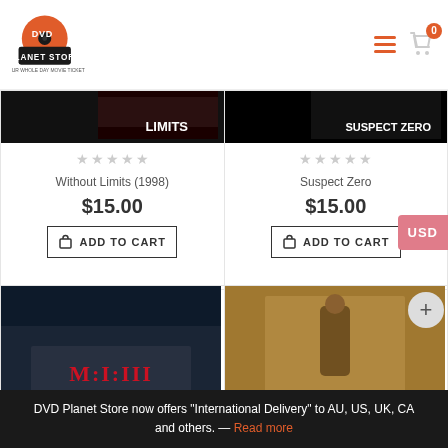[Figure (logo): DVD Planet Store logo - orange disc with store name]
[Figure (photo): Without Limits (1998) movie poster cropped top]
[Figure (photo): Suspect Zero movie poster cropped top]
Without Limits (1998)
$15.00
ADD TO CART
Suspect Zero
$15.00
ADD TO CART
[Figure (photo): Mission Impossible III movie poster]
[Figure (photo): The Last Samurai movie poster]
USD
+
DVD Planet Store now offers "International Delivery" to AU, US, UK, CA and others. — Read more